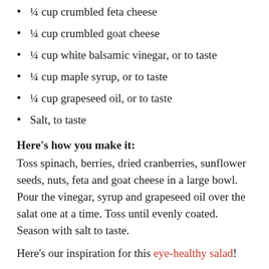¼ cup crumbled feta cheese
¼ cup crumbled goat cheese
¼ cup white balsamic vinegar, or to taste
¼ cup maple syrup, or to taste
¼ cup grapeseed oil, or to taste
Salt, to taste
Here's how you make it:
Toss spinach, berries, dried cranberries, sunflower seeds, nuts, feta and goat cheese in a large bowl. Pour the vinegar, syrup and grapeseed oil over the salat one at a time. Toss until evenly coated. Season with salt to taste.
Here's our inspiration for this eye-healthy salad!
If you want to go the extra mile, eat your salad with a salmon on the side! Omega-3 fatty acids found in fish are great for boosting eye health and protecting